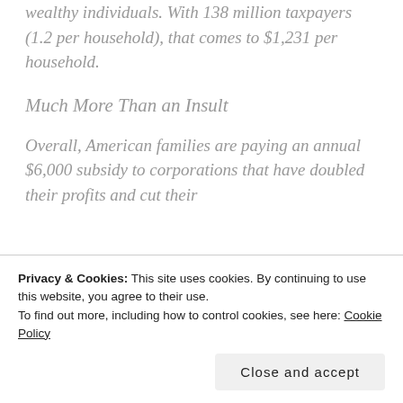wealthy individuals. With 138 million taxpayers (1.2 per household), that comes to $1,231 per household.
Much More Than an Insult
Overall, American families are paying an annual $6,000 subsidy to corporations that have doubled their profits and cut their
Privacy & Cookies: This site uses cookies. By continuing to use this website, you agree to their use.
To find out more, including how to control cookies, see here: Cookie Policy